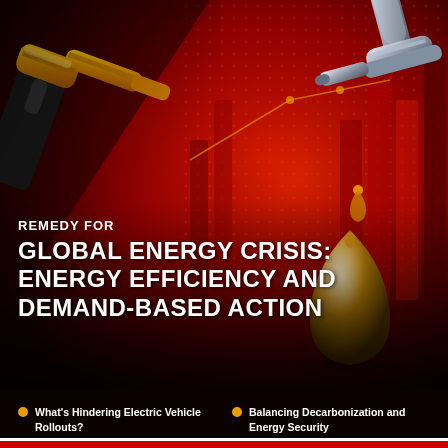[Figure (illustration): Dark red background with fuel pump nozzles (yellow/gold and silver/metallic), a large golden oil droplet, and bar chart graphic elements creating an energy crisis visual backdrop]
REMEDY FOR GLOBAL ENERGY CRISIS: ENERGY EFFICIENCY AND DEMAND-BASED ACTION
What's Hindering Electric Vehicle Rollouts?
Balancing Decarbonization and Energy Security